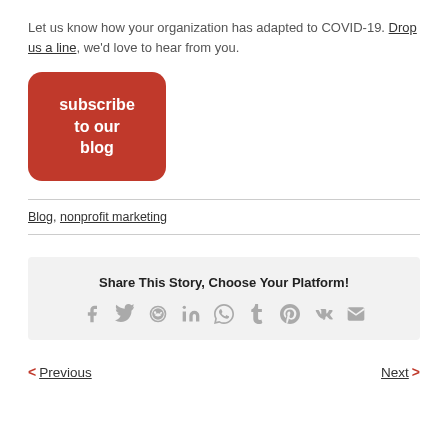Let us know how your organization has adapted to COVID-19. Drop us a line, we'd love to hear from you.
[Figure (other): Red rounded rectangle button with white text reading 'subscribe to our blog']
Blog, nonprofit marketing
Share This Story, Choose Your Platform!
[Figure (other): Social media share icons: Facebook, Twitter, Reddit, LinkedIn, WhatsApp, Tumblr, Pinterest, VK, Email]
< Previous   Next >